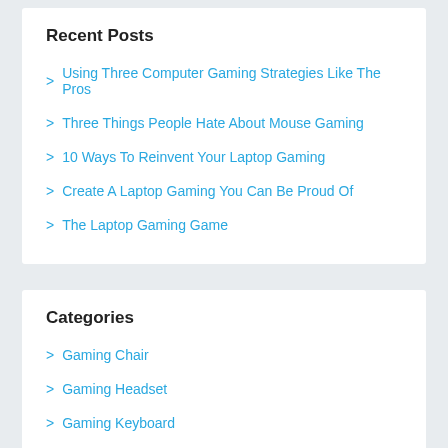Recent Posts
Using Three Computer Gaming Strategies Like The Pros
Three Things People Hate About Mouse Gaming
10 Ways To Reinvent Your Laptop Gaming
Create A Laptop Gaming You Can Be Proud Of
The Laptop Gaming Game
Categories
Gaming Chair
Gaming Headset
Gaming Keyboard
Gaming Laptop